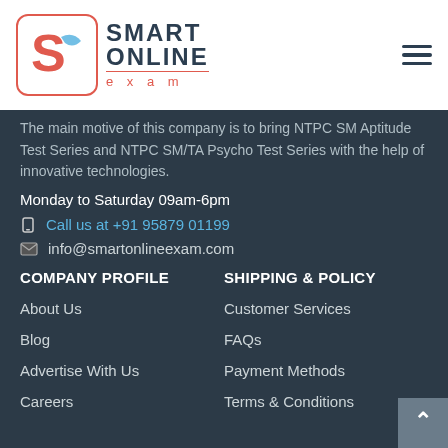Smart Online Exam
The main motive of this company is to bring NTPC SM Aptitude Test Series and NTPC SM/TA Psycho Test Series with the help of innovative technologies.
Monday to Saturday 09am-6pm
Call us at +91 95879 01199
info@smartonlineexam.com
COMPANY PROFILE
SHIPPING & POLICY
About Us
Customer Services
Blog
FAQs
Advertise With Us
Payment Methods
Careers
Terms & Conditions